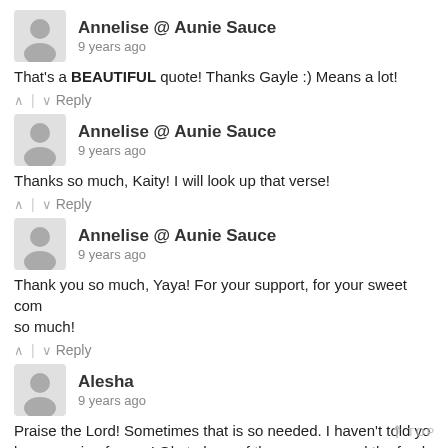Annelise @ Aunie Sauce
9 years ago
That's a BEAUTIFUL quote! Thanks Gayle :) Means a lot!
^ | v Reply
Annelise @ Aunie Sauce
9 years ago
Thanks so much, Kaity! I will look up that verse!
^ | v Reply
Annelise @ Aunie Sauce
9 years ago
Thank you so much, Yaya! For your support, for your sweet com so much!
^ | v Reply
Alesha
9 years ago
Praise the Lord! Sometimes that is so needed. I haven't told yo been praying for you! Gla to hear of the newness and the fresh Alesha <3